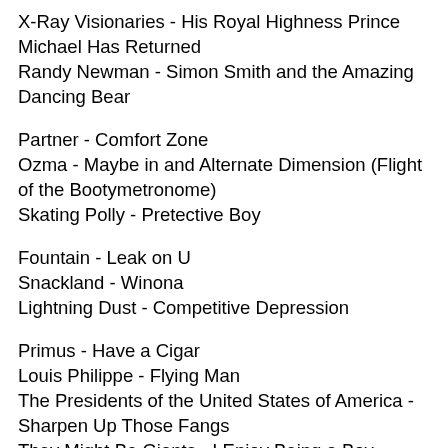X-Ray Visionaries - His Royal Highness Prince Michael Has Returned
Randy Newman - Simon Smith and the Amazing Dancing Bear
Partner - Comfort Zone
Ozma - Maybe in and Alternate Dimension (Flight of the Bootymetronome)
Skating Polly - Pretective Boy
Fountain - Leak on U
Snackland - Winona
Lightning Dust - Competitive Depression
Primus - Have a Cigar
Louis Philippe - Flying Man
The Presidents of the United States of America - Sharpen Up Those Fangs
They Might Be Giants - I Enjoy Being a Boy